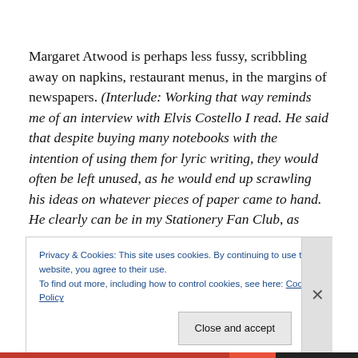Margaret Atwood is perhaps less fussy, scribbling away on napkins, restaurant menus, in the margins of newspapers. (Interlude: Working that way reminds me of an interview with Elvis Costello I read. He said that despite buying many notebooks with the intention of using them for lyric writing, they would often be left unused, as he would end up scrawling his ideas on whatever pieces of paper came to hand. He clearly can be in my Stationery Fan Club, as
Privacy & Cookies: This site uses cookies. By continuing to use this website, you agree to their use.
To find out more, including how to control cookies, see here: Cookie Policy
Close and accept